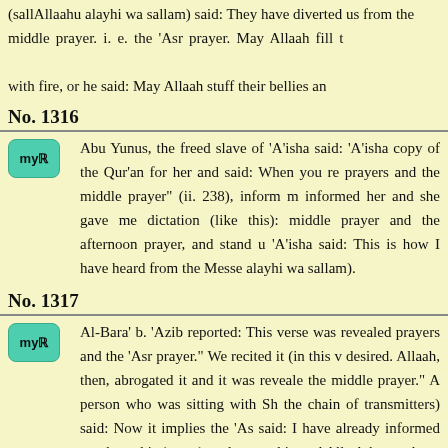(sallAllaahu alayhi wa sallam) said: They have diverted us from the middle prayer. i. e. the 'Asr prayer. May Allaah fill their homes and bellies with fire, or he said: May Allaah stuff their bellies and...
No. 1316
Abu Yunus, the freed slave of 'A'isha said: 'A'isha ordered me to write a copy of the Qur'an for her and said: When you reach this verse "Guard the prayers and the middle prayer" (ii. 238), inform me. So I informed her and she gave me dictation (like this): Guard the prayers and the middle prayer and the afternoon prayer, and stand up with obedience. 'A'isha said: This is how I have heard from the Messenger (sallAllaahu alayhi wa sallam).
No. 1317
Al-Bara' b. 'Azib reported: This verse was revealed: "Guard the prayers and the 'Asr prayer." We recited it (in this very wording) as long as Allaah desired. Allaah, then, abrogated it and it was revealed: "Guard the prayers and the middle prayer." A person who was sitting with Shaqiq (one of the narrators in the chain of transmitters) said: Now it implies the 'Asr prayer. Shaqiq said: I have already informed you how this (verse) was revealed and how Allaah abrogated it, and Allaah knows best. Imam Muslim said: This is narrated by Sufyan al-Thauri, who narrated it from al-Aswad b. Qais, who narrated it from 'Uqba, who narrated it from al-Bara' b. 'Azib who narrated it from the Prophet (sallAllaahu alayhi wa sallam) (the above-mentioned hadith but) instead of Salat al- Wusta, Salat al-'Asr) for a cer...